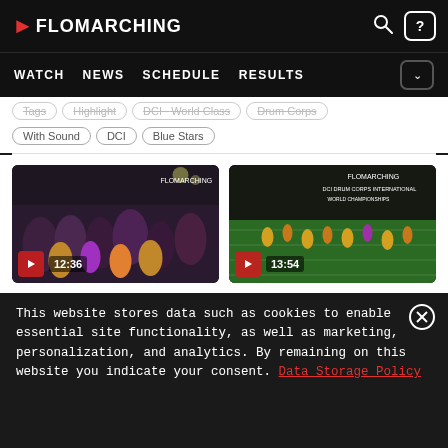FloMarching — WATCH | NEWS | SCHEDULE | RESULTS
Tags: Highlight | DCI World Class | Drum Corps | With Sound | DCI | Blue Stars
[Figure (screenshot): Video thumbnail 1 showing crowd in stadium, duration 12:36]
[Figure (screenshot): Video thumbnail 2 showing marching band on field, duration 13:54]
This website stores data such as cookies to enable essential site functionality, as well as marketing, personalization, and analytics. By remaining on this website you indicate your consent. Data Storage Policy